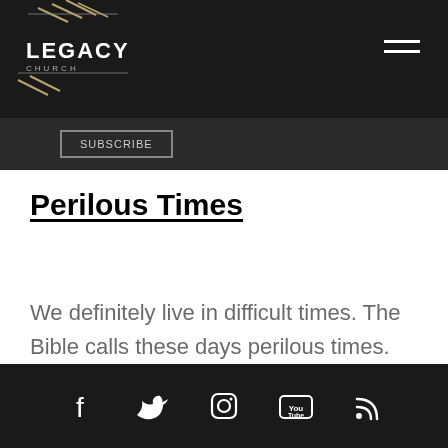LEGACY CHURCH
Subscribe
Perilous Times
We definitely live in difficult times. The Bible calls these days perilous times.
Social media icons: Facebook, Twitter, Instagram, YouTube, RSS